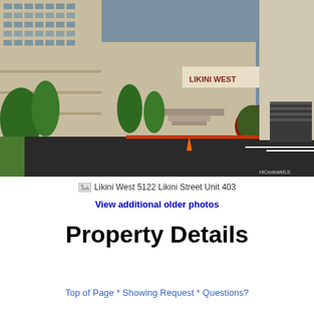[Figure (photo): Exterior photo of Likini West condominium building at 5122 Likini Street Unit 403, showing multi-story building facade with parking driveway in foreground. HICentralMLS watermark visible.]
Likini West 5122 Likini Street Unit 403
View additional older photos
Property Details
Top of Page * Showing Request * Questions?